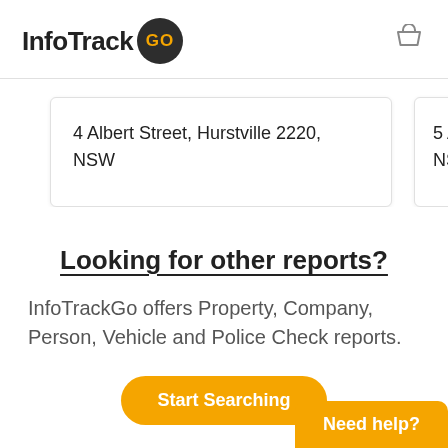InfoTrack GO
4 Albert Street, Hurstville 2220, NSW
5 Albert S NSW
Looking for other reports?
InfoTrackGo offers Property, Company, Person, Vehicle and Police Check reports.
Start Searching
Need help?